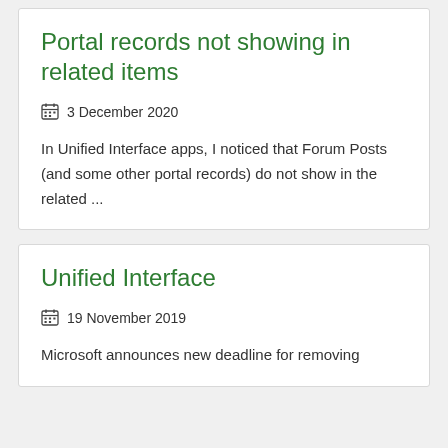Portal records not showing in related items
3 December 2020
In Unified Interface apps, I noticed that Forum Posts (and some other portal records) do not show in the related ...
Unified Interface
19 November 2019
Microsoft announces new deadline for removing